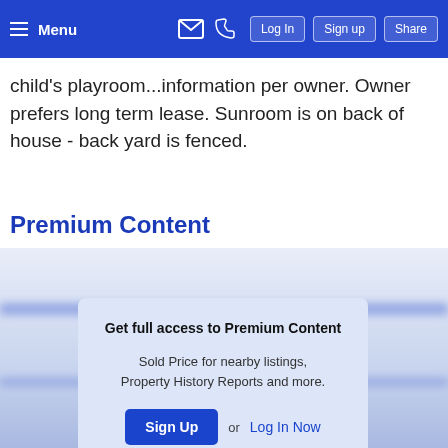Menu | Log In | Sign up | Share
child's playroom...information per owner. Owner prefers long term lease. Sunroom is on back of house - back yard is fenced.
Premium Content
[Figure (screenshot): Blurred premium content area with an overlay card. The card reads: 'Get full access to Premium Content'. Below: 'Sold Price for nearby listings, Property History Reports and more.' Followed by a 'Sign Up' button and 'or Log In Now' link.]
Get full access to Premium Content
Sold Price for nearby listings, Property History Reports and more.
Sign Up or Log In Now